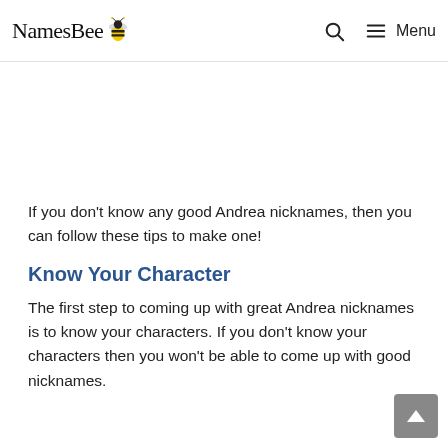NamesBee [logo] | Search | Menu
If you don’t know any good Andrea nicknames, then you can follow these tips to make one!
Know Your Character
The first step to coming up with great Andrea nicknames is to know your characters. If you don’t know your characters then you won’t be able to come up with good nicknames.